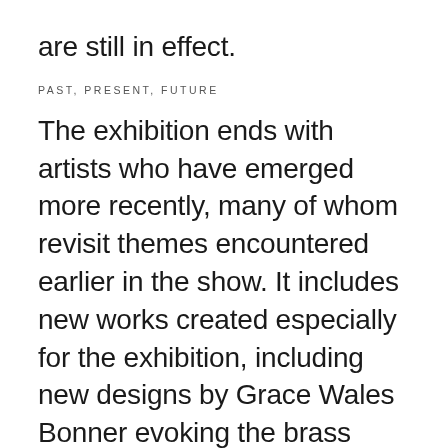are still in effect.
PAST, PRESENT, FUTURE
The exhibition ends with artists who have emerged more recently, many of whom revisit themes encountered earlier in the show. It includes new works created especially for the exhibition, including new designs by Grace Wales Bonner evoking the brass bands and parades of the Commonwealth Caribbean, Marcia Michael's multimedia collaboration with her Jamaican mother connecting her voice and body to generations of history and memory, and a photographic installation by Liz